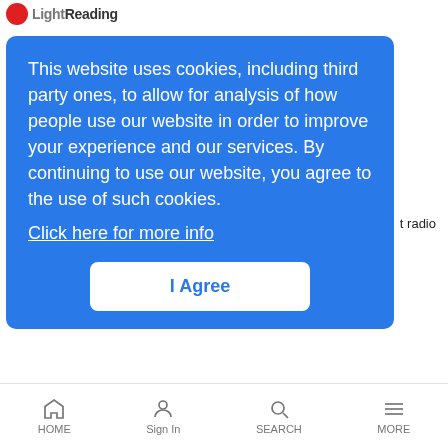LightReading
t radio
This website uses cookies, including third party ones, to allow for analysis of how people use our website in order to improve your experience and our services. By continuing to use our website, you agree to the use of such cookies.
Click here for more info
I Agree
TWC Prices $5B Debt Offer
LR Cable News Analysis | 6/17/2008
MSO says part of proceeds will be used to finance a big, one-time cash dividend to MSO stockholders
[Figure (photo): Video thumbnail with play button]
Dennis Huber, SVP, Strategy, Embarq
HOME   Sign In   SEARCH   MORE